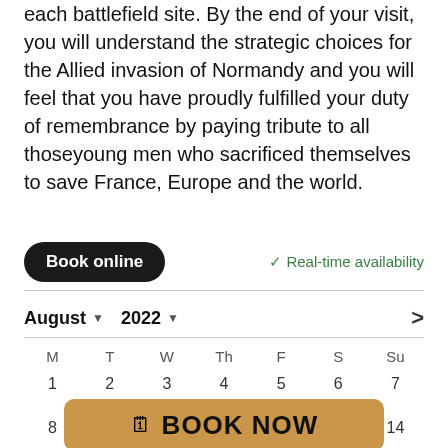each battlefield site. By the end of your visit, you will understand the strategic choices for the Allied invasion of Normandy and you will feel that you have proudly fulfilled your duty of remembrance by paying tribute to all thoseyoung men who sacrificed themselves to save France, Europe and the world.
Book online
✓ Real-time availability
August ▼ 2022 ▼
| M | T | W | Th | F | S | Su |
| --- | --- | --- | --- | --- | --- | --- |
| 1 | 2 | 3 | 4 | 5 | 6 | 7 |
| 8 |  |  |  |  |  | 14 |
| 15 | 16 | 17 | 18 | 19 | 20 | 21 |
BOOK NOW